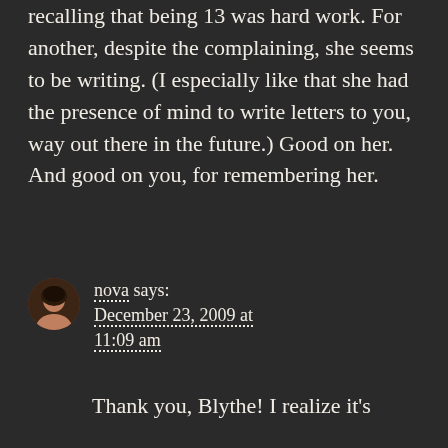recalling that being 13 was hard work. For another, despite the complaining, she seems to be writing. (I especially like that she had the presence of mind to write letters to you, way out there in the future.) Good on her. And good on you, for remembering her.
nova says: December 23, 2009 at 11:09 am
Thank you, Blythe! I realize it's